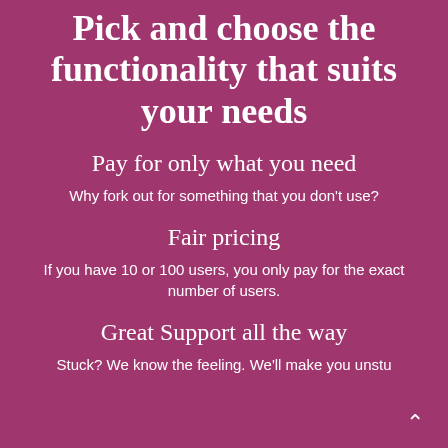Pick and choose the functionality that suits your needs
Pay for only what you need
Why fork out for something that you don't use?
Fair pricing
If you have 10 or 100 users, you only pay for the exact number of users.
Great Support all the way
Stuck? We know the feeling. We'll make you unstu